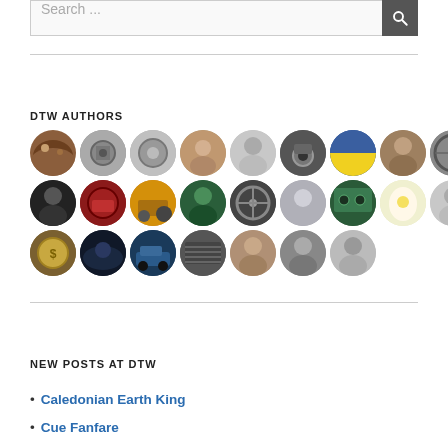[Figure (screenshot): Search bar with text input placeholder 'Search...' and dark search button with magnifying glass icon]
DTW AUTHORS
[Figure (illustration): Grid of circular author avatar images, 3 rows: Row 1 has 9 avatars, Row 2 has 9 avatars, Row 3 has 7 avatars]
NEW POSTS AT DTW
Caledonian Earth King
Cue Fanfare